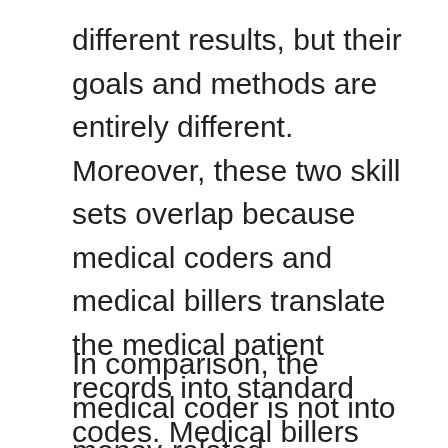different results, but their goals and methods are entirely different. Moreover, these two skill sets overlap because medical coders and medical billers translate the medical patient records into standard codes. Medical billers focus on accurate medical billing services and reimbursements based on the medical codes.
In comparison, the medical coder is not into money-related processes, and they provide the complete medical encounter. UControl Billing is the best